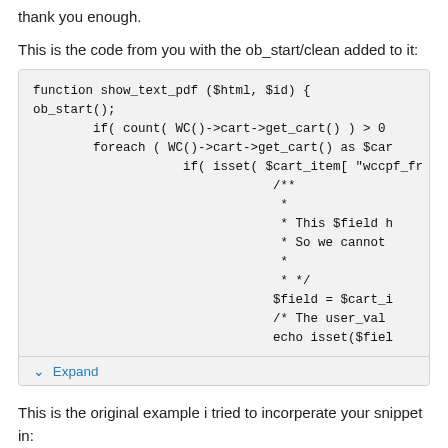thank you enough.
This is the code from you with the ob_start/clean added to it:
[Figure (screenshot): Code block showing PHP function show_text_pdf with ob_start, WC cart loops, isset checks, field assignment and echo statement. Truncated on the right. Has an Expand button at the bottom.]
This is the original example i tried to incorperate your snippet in:
[Figure (screenshot): Code block showing add_filter call with 'woocommerce_pdf_catalog_before_prod' and a partial function show_page_in_pdf($html, $id) line.]